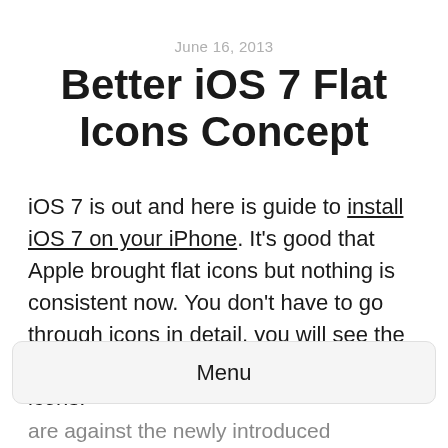June 16, 2013
Better iOS 7 Flat Icons Concept
iOS 7 is out and here is guide to install iOS 7 on your iPhone. It's good that Apple brought flat icons but nothing is consistent now. You don't have to go through icons in detail, you will see the inconsistency in the gradients in some icons.
Menu
are against the newly introduced